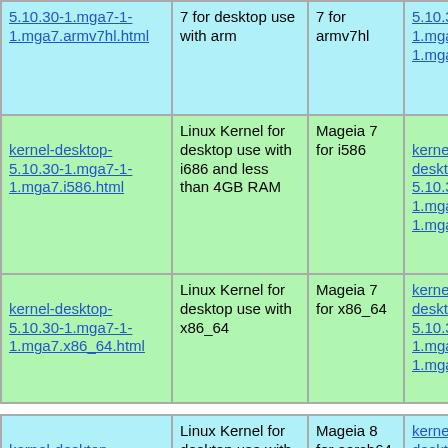| Link (html) | Description | Arch | Link (rpm) |
| --- | --- | --- | --- |
| 5.10.30-1.mga7-1-1.mga7.armv7hl.html | 7 for armv7hl desktop use with arm | 7 for armv7hl | 5.10.30-1.mga7-1-1.mga7.armv7hl.rpm |
| kernel-desktop-5.10.30-1.mga7-1-1.mga7.i586.html | Linux Kernel for desktop use with i686 and less than 4GB RAM | Mageia 7 for i586 | kernel-desktop-5.10.30-1.mga7-1-1.mga7.i586.rpm |
| kernel-desktop-5.10.30-1.mga7-1-1.mga7.x86_64.html | Linux Kernel for desktop use with x86_64 | Mageia 7 for x86_64 | kernel-desktop-5.10.30-1.mga7-1-1.mga7.x86_64.rpm |
| kernel-desktop-5.10.30-1.mga8-1-1.mga8.aarch64.html | Linux Kernel for desktop use with aarch64 | Mageia 8 for aarch64 | kernel-desktop-5.10.30-1.mga8-1-1.mga8.aarch64.rpm |